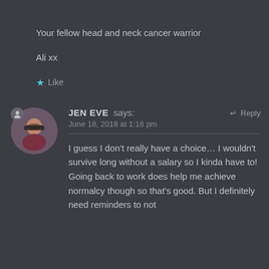Your fellow head and neck cancer warrior

Ali xx
★ Like
JEN EVE says: June 18, 2018 at 1:16 pm ← Reply
I guess I don't really have a choice… I wouldn't survive long without a salary so I kinda have to! Going back to work does help me achieve normalcy though so that's good. But I definitely need reminders to not